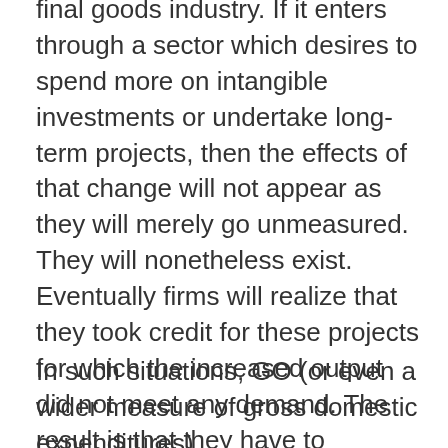final goods industry. If it enters through a sector which desires to spend more on intangible investments or undertake long-term projects, then the effects of that change will not appear as they will merely go unmeasured. They will nonetheless exist. Eventually firms will realize that they took credit for these projects for which the increased output did not meet any demand. The result is that they have to contract their output by a sizable margin. In that case, they will abandon those activities (imagine unfinished skyscrapers or jettisoned research projects).
In such situations, GO (or even a wider measure of gross domestic expenditures)